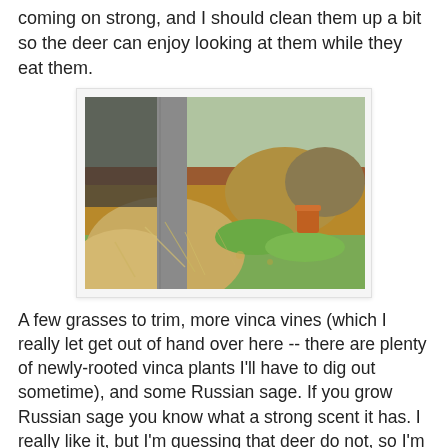coming on strong, and I should clean them up a bit so the deer can enjoy looking at them while they eat them.
[Figure (photo): Outdoor garden photo showing a wooden post in the foreground, dry ornamental grasses and shrubs in a raised garden bed, with green grass and an orange terracotta pot visible in the background.]
A few grasses to trim, more vinca vines (which I really let get out of hand over here -- there are plenty of newly-rooted vinca plants I'll have to dig out sometime), and some Russian sage. If you grow Russian sage you know what a strong scent it has. I really like it, but I'm guessing that deer do not, so I'm going to try cutting some pieces of sage stem and putting them in the daylilies. Perhaps that will deter the deer for a little while, although I can see they've been munching them already.